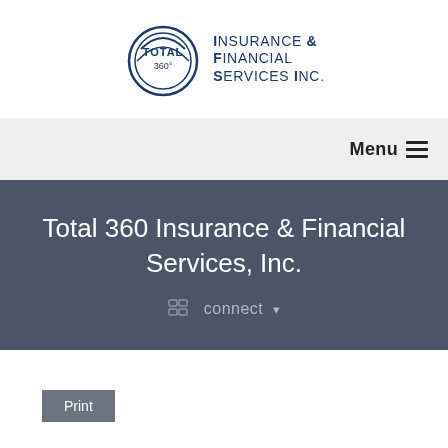[Figure (logo): Total 360 IFS Insurance & Financial Services Inc. logo with circular emblem and text]
Menu ☰
Total 360 Insurance & Financial Services, Inc.
connect ▾
Print
[Figure (photo): Yellow/green items (possibly tennis balls or similar) on a dark background]